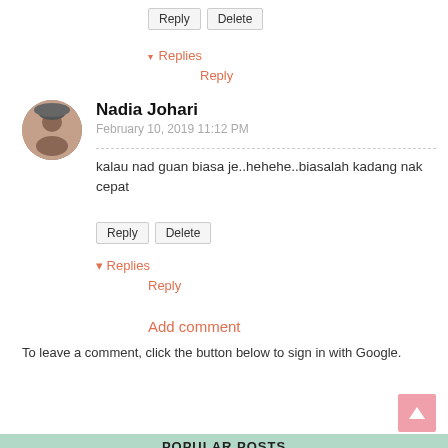Reply | Delete
▾ Replies
Reply
Nadia Johari
February 10, 2019 11:12 PM
kalau nad guan biasa je..hehehe..biasalah kadang nak cepat
Reply | Delete
▾ Replies
Reply
Add comment
To leave a comment, click the button below to sign in with Google.
SIGN IN WITH GOOGLE
POPULAR POSTS